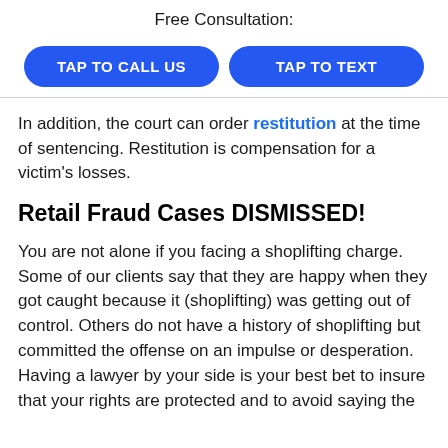Free Consultation:
[Figure (other): Two blue rounded-rectangle buttons side by side: 'TAP TO CALL US' and 'TAP TO TEXT']
In addition, the court can order restitution at the time of sentencing. Restitution is compensation for a victim's losses.
Retail Fraud Cases DISMISSED!
You are not alone if you facing a shoplifting charge. Some of our clients say that they are happy when they got caught because it (shoplifting) was getting out of control. Others do not have a history of shoplifting but committed the offense on an impulse or desperation. Having a lawyer by your side is your best bet to insure that your rights are protected and to avoid saying the